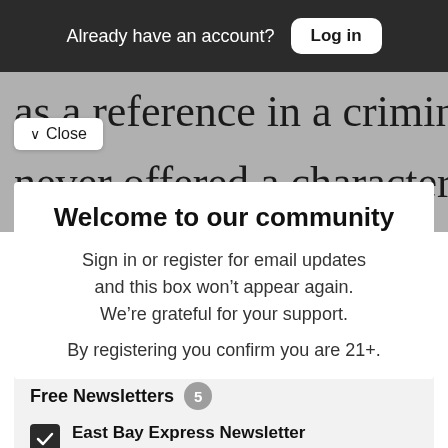Already have an account? Log in
as a reference in a criminal case. “I [never offered a character
∨ Close
Welcome to our community
Sign in or register for email updates and this box won’t appear again. We’re grateful for your support.
By registering you confirm you are 21+.
Free Newsletters  5
East Bay Express Newsletter (weekly)
News stories, arts and dining